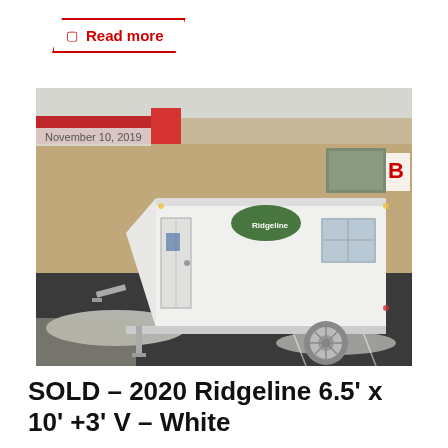Read more
[Figure (photo): White enclosed cargo trailer (2020 Ridgeline 6.5x10+3 V-nose) parked in a snowy parking lot in front of a commercial building. Date stamp: November 10, 2019.]
November 10, 2019
SOLD – 2020 Ridgeline 6.5' x 10' +3' V – White
Read & Garden D...